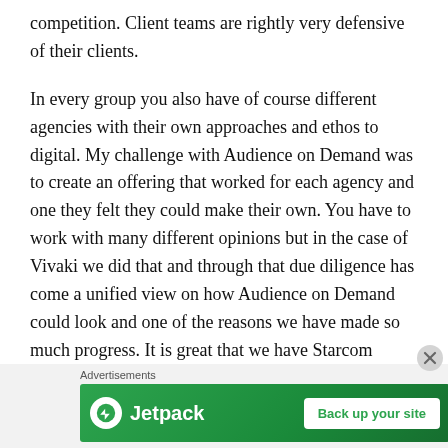competition. Client teams are rightly very defensive of their clients.
In every group you also have of course different agencies with their own approaches and ethos to digital. My challenge with Audience on Demand was to create an offering that worked for each agency and one they felt they could make their own. You have to work with many different opinions but in the case of Vivaki we did that and through that due diligence has come a unified view on how Audience on Demand could look and one of the reasons we have made so much progress. It is great that we have Starcom Mediavest, Zenthoptimedia and Performics all behind the col [text cut off]
[Figure (other): Jetpack advertisement banner with green background, Jetpack logo on the left, and 'Back up your site' button on the right. Labeled 'Advertisements' above.]